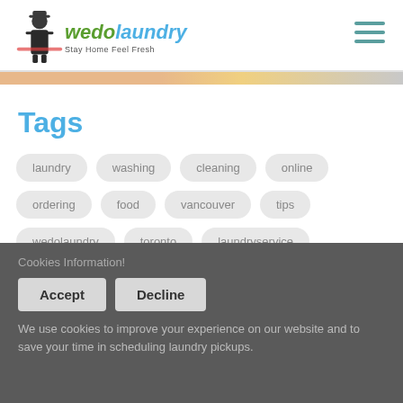wedolaundry — Stay Home Feel Fresh
Tags
laundry
washing
cleaning
online
ordering
food
vancouver
tips
wedolaundry
toronto
laundryservice
Cookies Information!
Accept
Decline
We use cookies to improve your experience on our website and to save your time in scheduling laundry pickups.